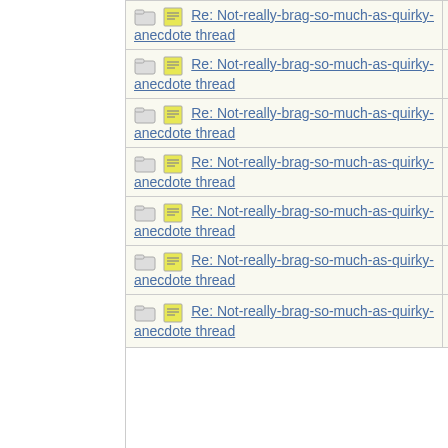| Subject | Author |
| --- | --- |
| Re: Not-really-brag-so-much-as-quirky-anecdote thread | lilmisssun |
| Re: Not-really-brag-so-much-as-quirky-anecdote thread | aquinas |
| Re: Not-really-brag-so-much-as-quirky-anecdote thread | Sweetie |
| Re: Not-really-brag-so-much-as-quirky-anecdote thread | Mana |
| Re: Not-really-brag-so-much-as-quirky-anecdote thread | aquinas |
| Re: Not-really-brag-so-much-as-quirky-anecdote thread | Cassmo4 |
| Re: Not-really-brag-so-much-as-quirky-anecdote thread |  |